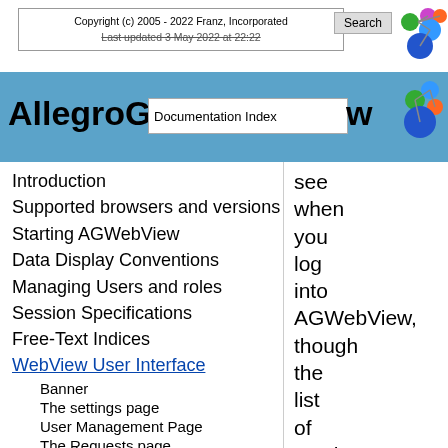Copyright (c) 2005 - 2022 Franz, Incorporated
Last updated 3 May 2022 at 22:22
AllegroGraph Documentation Index
Introduction
Supported browsers and versions
Starting AGWebView
Data Display Conventions
Managing Users and roles
Session Specifications
Free-Text Indices
WebView User Interface
Banner
The settings page
User Management Page
The Requests page
see when you log into AGWebView, though the list of catalogs and repos in the root